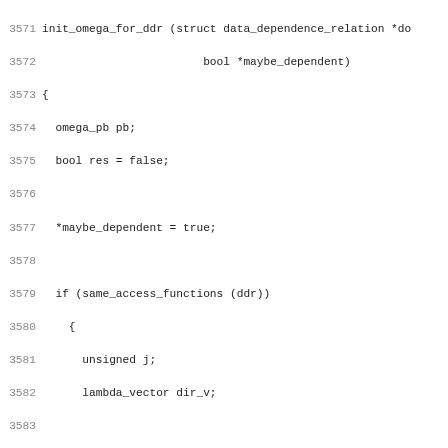Source code listing, lines 3571-3602, showing C function init_omega_for_ddr with code for handling same_access_functions, saving dist and dir vectors, and a comment about Omega expecting protected variables.